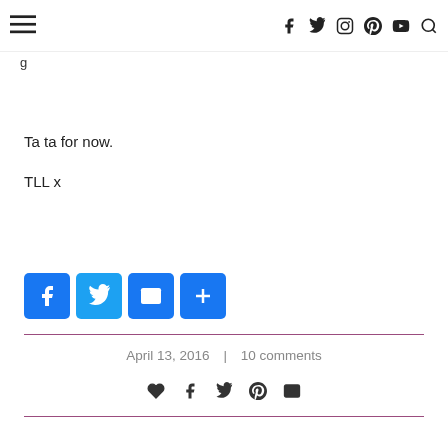≡  f  twitter  instagram  pinterest  youtube  search
Ta ta for now.

TLL x
[Figure (infographic): Social share buttons: Facebook (blue), Twitter (light blue), Email (blue), More/Plus (blue)]
April 13, 2016  |  10 comments
[Figure (infographic): Social action icons: heart/like, facebook, twitter, pinterest, email]